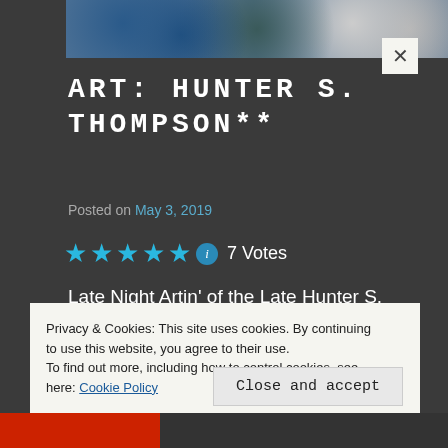[Figure (photo): Partial photo strip at top showing artwork/photo related to Hunter S. Thompson]
ART: HUNTER S. THOMPSON**
Posted on May 3, 2019
★★★★★ ℹ 7 Votes
Late Night Artin' of the Late Hunter S. Thompson
SHARE THIS:
Privacy & Cookies: This site uses cookies. By continuing to use this website, you agree to their use.
To find out more, including how to control cookies, see here: Cookie Policy
Close and accept